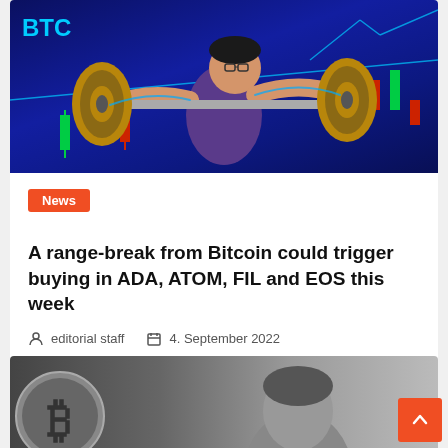[Figure (illustration): Illustrated weightlifter lifting a barbell with Bitcoin coin weights against a candlestick chart background with 'BTC' label in blue]
News
A range-break from Bitcoin could trigger buying in ADA, ATOM, FIL and EOS this week
editorial staff   4. September 2022
[Figure (photo): Black and white photo showing a Bitcoin coin and a person's face]